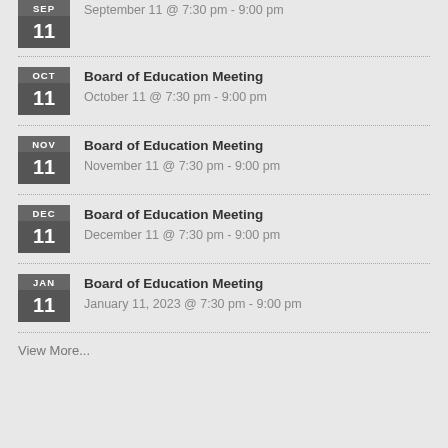September 11 @ 7:30 pm - 9:00 pm
Board of Education Meeting — October 11 @ 7:30 pm - 9:00 pm
Board of Education Meeting — November 11 @ 7:30 pm - 9:00 pm
Board of Education Meeting — December 11 @ 7:30 pm - 9:00 pm
Board of Education Meeting — January 11, 2023 @ 7:30 pm - 9:00 pm
View More...